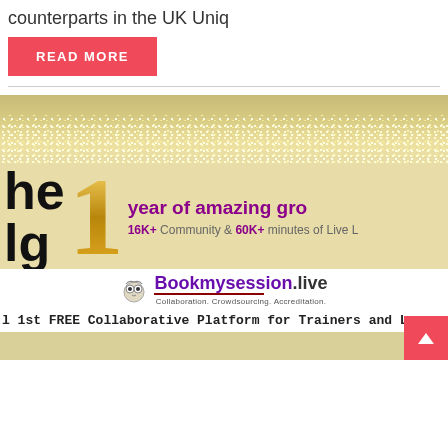counterparts in the UK Uniq
READ MORE
[Figure (illustration): Advertisement banner for Bookmysession.live showing golden number 1, text 'year of amazing gro[wth]', '16K+ Community & 60K+ minutes of Live L[earning]', logo for Bookmysession.live with tagline 'Collaboration. Crowdsourcing. Accreditation.', and text 'l 1st FREE Collaborative Platform for Trainers and Le[arners]'. Gold/cream background with sparkle effects at top.]